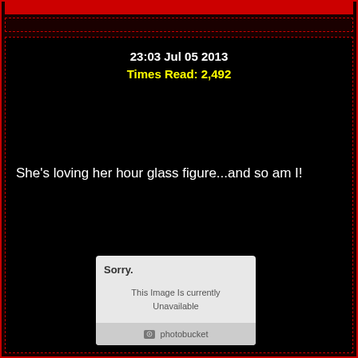23:03 Jul 05 2013
Times Read: 2,492
She's loving her hour glass figure...and so am I!
[Figure (other): Photobucket placeholder image showing 'Sorry. This Image Is currently Unavailable' with photobucket logo at bottom]